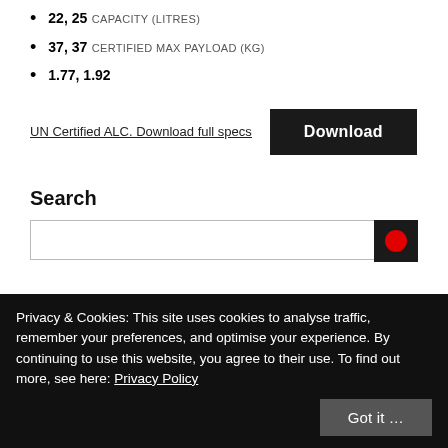22, 25 CAPACITY (LITRES)
37, 37 CERTIFIED MAX PAYLOAD (KG)
1.77, 1.92
UN Certified ALC. Download full specs
Download
Search
Privacy & Cookies: This site uses cookies to analyse traffic, remember your preferences, and optimise your experience. By continuing to use this website, you agree to their use. To find out more, see here: Privacy Policy
Got it …